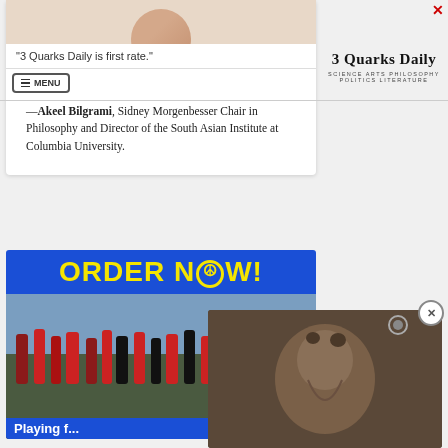[Figure (photo): Circular portrait photo of a person in a pink/light shirt, partially visible at top of card]
"3 Quarks Daily is first rate."
[Figure (logo): 3 Quarks Daily logo with subtitle SCIENCE ARTS PHILOSOPHY POLITICS LITERATURE]
—Akeel Bilgrami, Sidney Morgenbesser Chair in Philosophy and Director of the South Asian Institute at Columbia University.
[Figure (photo): Advertisement banner with blue background, yellow text ORDER NOW! with peace symbol, and crowd photo below with caption Playing f...]
[Figure (photo): Video overlay thumbnail showing dark brownish subject with a play button]